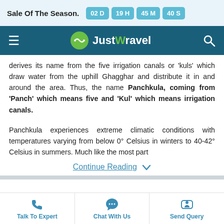Sale Of The Season.  02 D  19 H  45 M  40 S
[Figure (logo): JustWravel navigation bar with hamburger menu, green and white logo, and search icon on dark teal background]
derives its name from the five irrigation canals or 'kuls' which draw water from the uphill Ghagghar and distribute it in and around the area. Thus, the name Panchkula, coming from 'Panch' which means five and 'Kul' which means irrigation canals.
Panchkula experiences extreme climatic conditions with temperatures varying from below 0° Celsius in winters to 40-42° Celsius in summers. Much like the most part
Continue Reading ▾
Talk To Expert  Chat With Us  Send Query